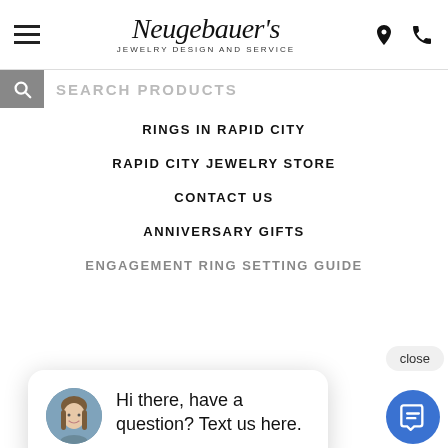Neugebauer's JEWELRY DESIGN AND SERVICE
SEARCH PRODUCTS
RINGS IN RAPID CITY
RAPID CITY JEWELRY STORE
CONTACT US
ANNIVERSARY GIFTS
ENGAGEMENT RING SETTING GUIDE
[Figure (screenshot): Chat popup with close button, avatar photo of a woman, text 'Hi there, have a question? Text us here.' and a blue chat icon button]
JEWELRY REPAIR
WEDDING RING FINISHES GUIDE
WHAT TO LOOK FOR IN A JEWELER